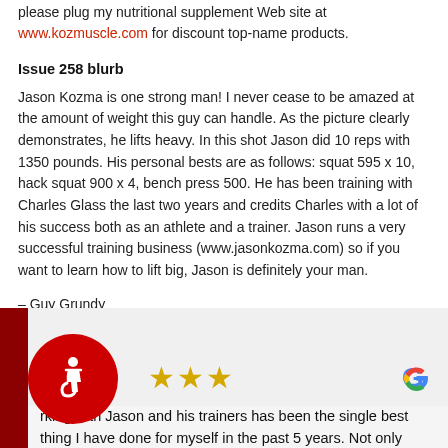please plug my nutritional supplement Web site at www.kozmuscle.com for discount top-name products.
Issue 258 blurb
Jason Kozma is one strong man! I never cease to be amazed at the amount of weight this guy can handle. As the picture clearly demonstrates, he lifts heavy. In this shot Jason did 10 reps with 1350 pounds. His personal bests are as follows: squat 595 x 10, hack squat 900 x 4, bench press 500. He has been training with Charles Glass the last two years and credits Charles with a lot of his success both as an athlete and a trainer. Jason runs a very successful training business (www.jasonkozma.com) so if you want to learn how to lift big, Jason is definitely your man.
– Guy Grundy
[Figure (other): Google review widget with accessibility icon (red circle with wheelchair user), three gold stars rating, Google G logo, and review text beginning 'rking with Jason and his trainers has been the single best thing I have done for myself in the past 5 years. Not only have I lost 20 pounds, but I can now walk into any']